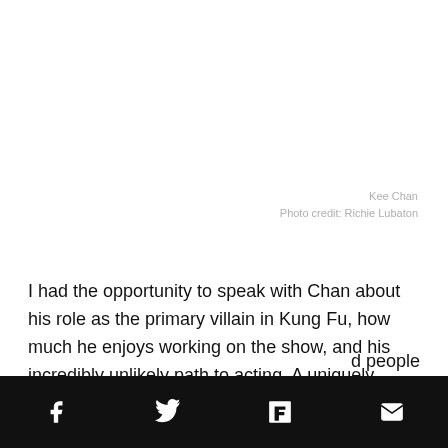Kee Chan
Photo credit: Richie Lubaton
I had the opportunity to speak with Chan about his role as the primary villain in Kung Fu, how much he enjoys working on the show, and his incredibly unlikely path to acting. A uniquely introspective and vulnerable talent, Chan has visited and worked in 158 different cities all over the world, and he credits that international [...]d people